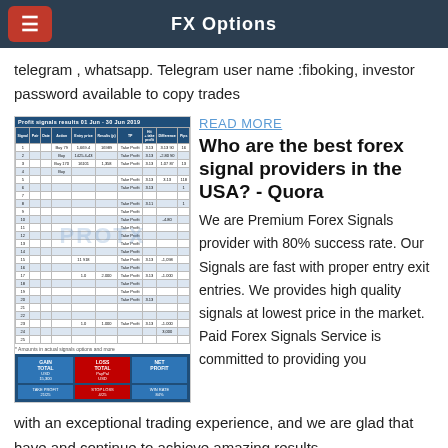FX Options
telegram , whatsapp. Telegram user name :fiboking, investor password available to copy trades
[Figure (table-as-image): Screenshot of a forex signals results table/spreadsheet showing trade data with blue header rows and alternating row colors, with a watermark and summary boxes at the bottom.]
READ MORE
Who are the best forex signal providers in the USA? - Quora
We are Premium Forex Signals provider with 80% success rate. Our Signals are fast with proper entry exit entries. We provides high quality signals at lowest price in the market. Paid Forex Signals Service is committed to providing you with an exceptional trading experience, and we are glad that have and continue to achieve amazing results.